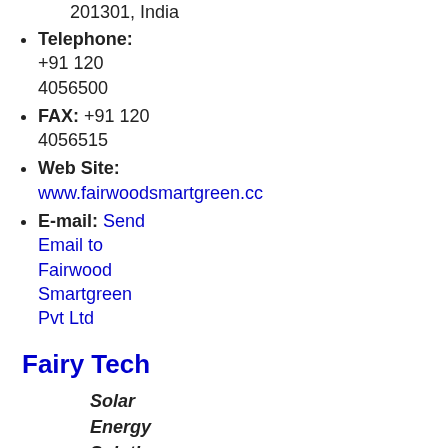201301, India
Telephone: +91 120 4056500
FAX: +91 120 4056515
Web Site: www.fairwoodsmartgreen.cc
E-mail: Send Email to Fairwood Smartgreen Pvt Ltd
Fairy Tech
Solar Energy Solutions, Led Lights, Home and Industrial Technologies